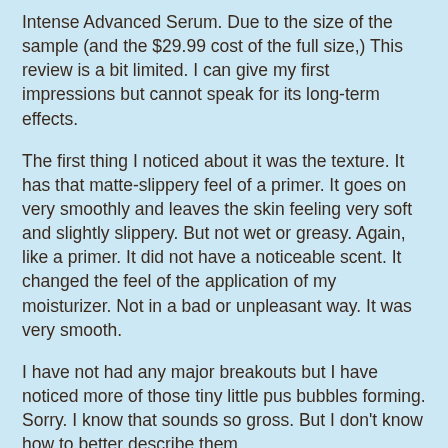Intense Advanced Serum. Due to the size of the sample (and the $29.99 cost of the full size,) This review is a bit limited. I can give my first impressions but cannot speak for its long-term effects.
The first thing I noticed about it was the texture. It has that matte-slippery feel of a primer. It goes on very smoothly and leaves the skin feeling very soft and slightly slippery. But not wet or greasy. Again, like a primer. It did not have a noticeable scent. It changed the feel of the application of my moisturizer. Not in a bad or unpleasant way. It was very smooth.
I have not had any major breakouts but I have noticed more of those tiny little pus bubbles forming. Sorry. I know that sounds so gross. But I don't know how to better describe them.